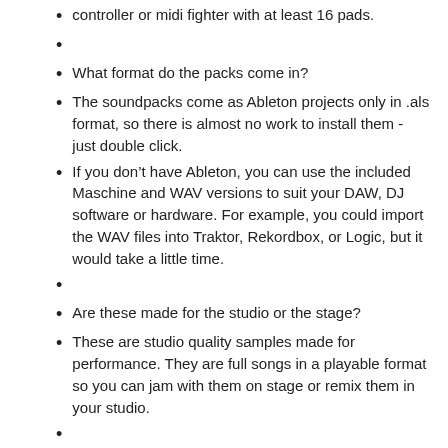controller or midi fighter with at least 16 pads.
What format do the packs come in?
The soundpacks come as Ableton projects only in .als format, so there is almost no work to install them - just double click.
If you don't have Ableton, you can use the included Maschine and WAV versions to suit your DAW, DJ software or hardware. For example, you could import the WAV files into Traktor, Rekordbox, or Logic, but it would take a little time.
Are these made for the studio or the stage?
These are studio quality samples made for performance. They are full songs in a playable format so you can jam with them on stage or remix them in your studio.
Do I need to pay for software to use with these packs?
All packs can be played for free forever using the Ableton